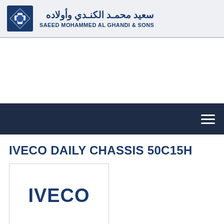سعيد محمد الكندي وأولاده
SAEED MOHAMMED AL GHANDI & SONS
IVECO DAILY CHASSIS 50C15H
[Figure (logo): IVECO logo in bold dark blue text on white background inside a rectangular border]